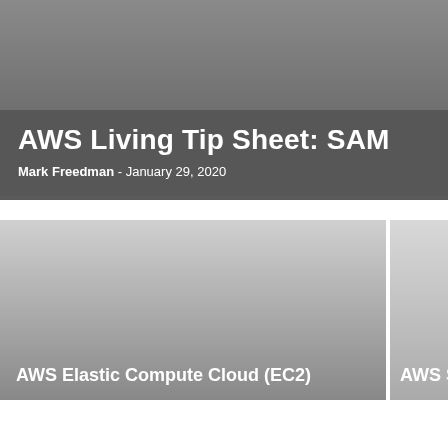AWS Living Tip Sheet: SAM
Mark Freedman - January 29, 2020
[Figure (illustration): Card thumbnail for AWS Elastic Compute Cloud (EC2) — grey gradient rectangle with white bold label at bottom left]
[Figure (illustration): Card thumbnail for AWS Simple (truncated) — grey gradient rectangle with white bold label at bottom left, partially visible]